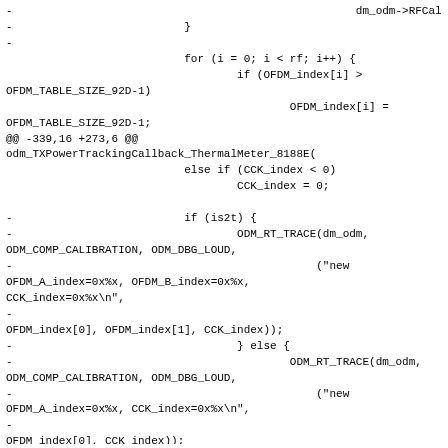-                                                    dm_odm->RFCalibrateInfo.CCK_index));
-                          }
-
                           for (i = 0; i < rf; i++) {
                                   if (OFDM_index[i] >
OFDM_TABLE_SIZE_92D-1)
                                           OFDM_index[i] =
OFDM_TABLE_SIZE_92D-1;
@@ -339,16 +273,6 @@
odm_TXPowerTrackingCallback_ThermalMeter_8188E(
                           else if (CCK_index < 0)
                                   CCK_index = 0;

-                          if (is2t) {
-                                  ODM_RT_TRACE(dm_odm,
ODM_COMP_CALIBRATION, ODM_DBG_LOUD,
-                                              ("new
OFDM_A_index=0x%x, OFDM_B_index=0x%x,
CCK_index=0x%x\n",
-
OFDM_index[0], OFDM_index[1], CCK_index));
-                                  } else {
-                                          ODM_RT_TRACE(dm_odm,
ODM_COMP_CALIBRATION, ODM_DBG_LOUD,
-                                              ("new
OFDM_A_index=0x%x, CCK_index=0x%x\n",
-
OFDM_index[0], CCK_index));
-                                  }